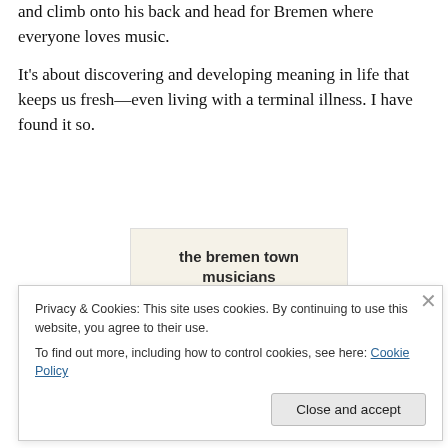and climb onto his back and head for Bremen where everyone loves music.
It's about discovering and developing meaning in life that keeps us fresh—even living with a terminal illness. I have found it so.
[Figure (illustration): Book cover image for 'the bremen town musicians' with cream/beige background and a small rooster figure at the bottom.]
Privacy & Cookies: This site uses cookies. By continuing to use this website, you agree to their use.
To find out more, including how to control cookies, see here: Cookie Policy
Close and accept